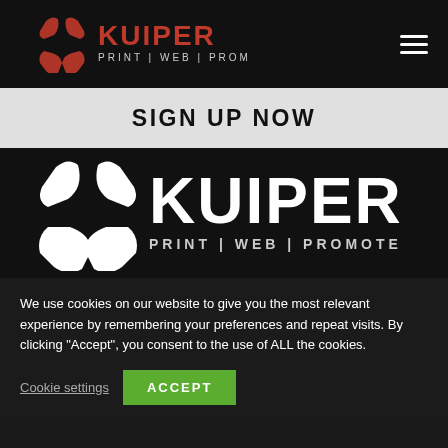[Figure (logo): Kuiper Print | Web | Promote logo in header — red geometric shape and red/white KUIPER text with tagline]
[Figure (logo): Hamburger menu icon (three horizontal white lines)]
SIGN UP NOW
[Figure (logo): Large white Kuiper Print | Web | Promote logo on black background]
We use cookies on our website to give you the most relevant experience by remembering your preferences and repeat visits. By clicking “Accept”, you consent to the use of ALL the cookies.
Cookie settings
ACCEPT